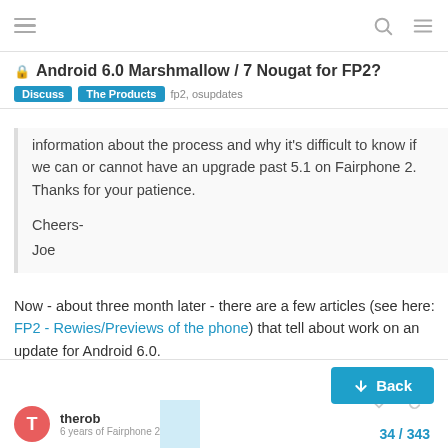Android 6.0 Marshmallow / 7 Nougat for FP2? | Discuss | The Products | fp2, osupdates
information about the process and why it's difficult to know if we can or cannot have an upgrade past 5.1 on Fairphone 2. Thanks for your patience.

Cheers-
Joe
Now - about three month later - there are a few articles (see here: FP2 - Rewies/Previews of the phone) that tell about work on an update for Android 6.0.
therob | 6 years of Fairphone 2 | 34 / 343 | 15